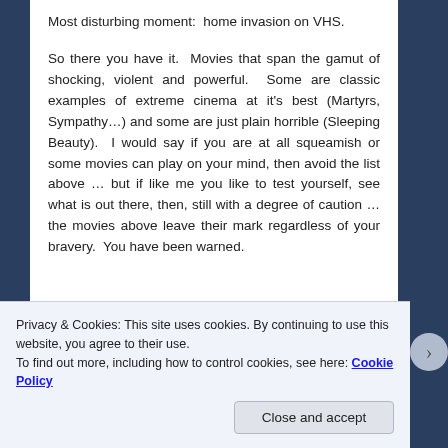Most disturbing moment:  home invasion on VHS.
So there you have it.  Movies that span the gamut of shocking, violent and powerful.  Some are classic examples of extreme cinema at it's best (Martyrs, Sympathy…) and some are just plain horrible (Sleeping Beauty).  I would say if you are at all squeamish or some movies can play on your mind, then avoid the list above … but if like me you like to test yourself, see what is out there, then, still with a degree of caution … the movies above leave their mark regardless of your bravery.  You have been warned.
Privacy & Cookies: This site uses cookies. By continuing to use this website, you agree to their use.
To find out more, including how to control cookies, see here: Cookie Policy
Close and accept